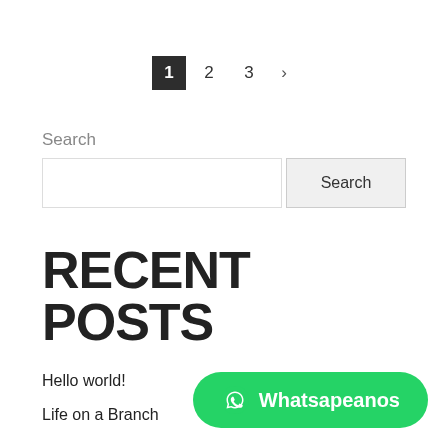1  2  3  >
Search
Search (input and button)
RECENT POSTS
Hello world!
Life on a Branch
[Figure (other): WhatsApp contact button with icon and text 'Whatsapeanos']